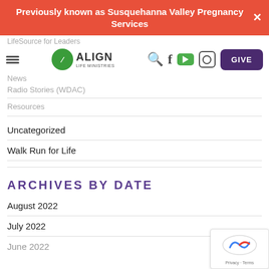Previously known as Susquehanna Valley Pregnancy Services
[Figure (logo): Align Life Ministries logo with hamburger menu, search icon, Facebook, YouTube, Instagram icons, and GIVE button]
LifeSource for Leaders
News
Radio Stories (WDAC)
Resources
Uncategorized
Walk Run for Life
ARCHIVES BY DATE
August 2022
July 2022